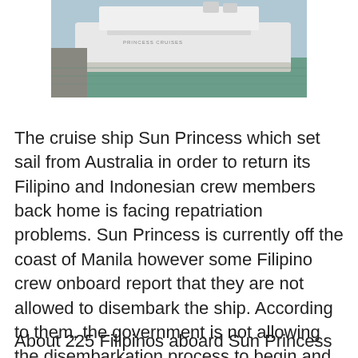[Figure (photo): Aerial or side view of the cruise ship Sun Princess docked or near a port, showing the white hull of the vessel against greenish water.]
The cruise ship Sun Princess which set sail from Australia in order to return its Filipino and Indonesian crew members back home is facing repatriation problems. Sun Princess is currently off the coast of Manila however some Filipino crew onboard report that they are not allowed to disembark the ship. According to them, the government is not allowing the disembarkation process to begin and they haven't received any official announcement by the local authorities.
About 225 Filipinos aboard Sun Princess